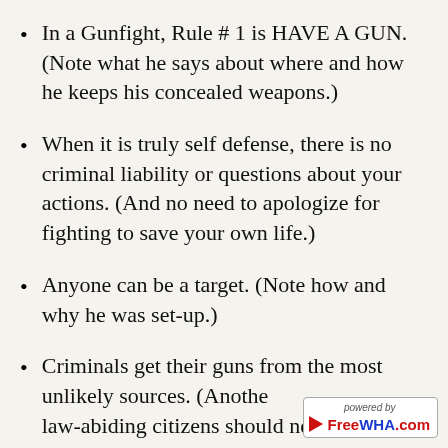In a Gunfight, Rule # 1 is HAVE A GUN. (Note what he says about where and how he keeps his concealed weapons.)
When it is truly self defense, there is no criminal liability or questions about your actions. (And no need to apologize for fighting to save your own life.)
Anyone can be a target. (Note how and why he was set-up.)
Criminals get their guns from the most unlikely sources. (Another... law-abiding citizens should never be